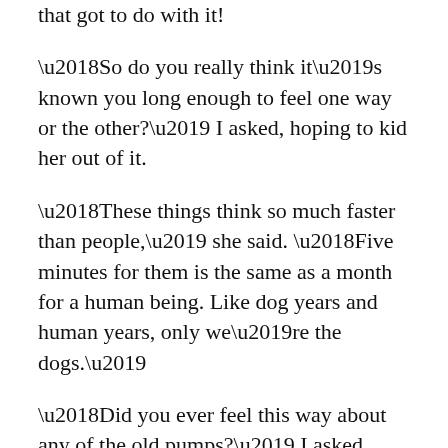that got to do with it!
‘So do you really think it’s known you long enough to feel one way or the other?’ I asked, hoping to kid her out of it.
‘These things think so much faster than people,’ she said. ‘Five minutes for them is the same as a month for a human being. Like dog years and human years, only we’re the dogs.’
‘Did you ever feel this way about any of the old pumps?’ I asked.
‘No. I’ve still got the last one. Every time they upgrade, I hang onto the old one in case the new one blows up. I got along fine with the last model. I’d still be using it, but it’s too slow.